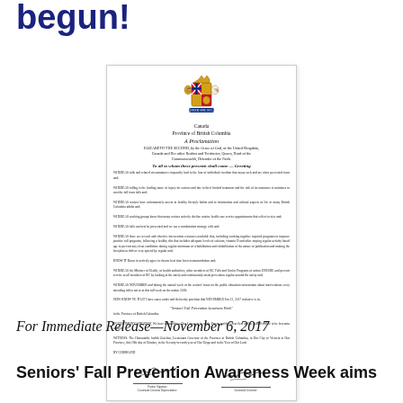begun!
[Figure (illustration): BC Provincial Proclamation document showing Canada Province of British Columbia crest, titled 'A Proclamation', signed by royal authority regarding Seniors' Fall Prevention Awareness Week, with two signatures at the bottom.]
For Immediate Release—November 6, 2017
Seniors' Fall Prevention Awareness Week aims